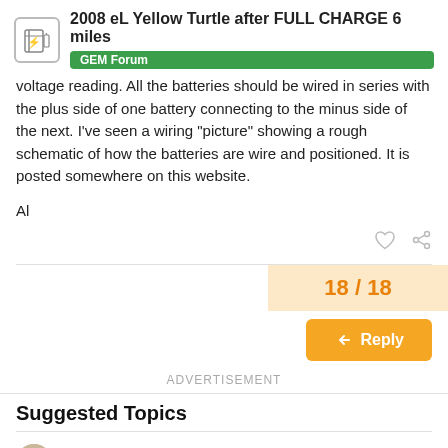2008 eL Yellow Turtle after FULL CHARGE 6 miles | GEM Forum
voltage reading. All the batteries should be wired in series with the plus side of one battery connecting to the minus side of the next. I’ve seen a wiring “picture” showing a rough schematic of how the batteries are wire and positioned. It is posted somewhere on this website.
Al
18 / 18
Reply
ADVERTISEMENT
Suggested Topics
What is wrong with this T22...